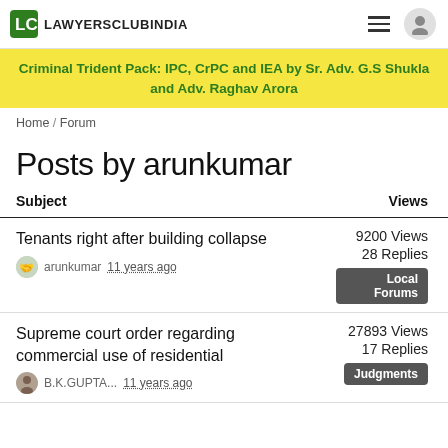LAWYERSCLUBINDIA
[Figure (infographic): Yellow banner advertisement: Criminal Trident Pack: IPC, CrPC and IEA by Sr. Adv. G.S Shukla and Adv. Raghav Arora]
Home / Forum
Posts by arunkumar
| Subject | Views |
| --- | --- |
| Tenants right after building collapse
arunkumar 11 years ago | 9200 Views
28 Replies
Local Forums |
| Supreme court order regarding commercial use of residential
B.K.GUPTA... 11 years ago | 27893 Views
17 Replies
Judgments |